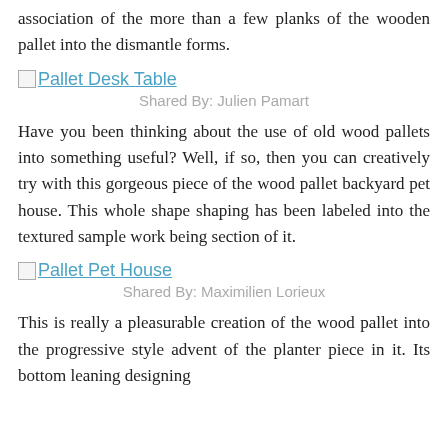association of the more than a few planks of the wooden pallet into the dismantle forms.
[Figure (other): Broken image placeholder for Pallet Desk Table link]
Shared By: Julien Pamart
Have you been thinking about the use of old wood pallets into something useful? Well, if so, then you can creatively try with this gorgeous piece of the wood pallet backyard pet house. This whole shape shaping has been labeled into the textured sample work being section of it.
[Figure (other): Broken image placeholder for Pallet Pet House link]
Shared By: Maximilien Lorieux
This is really a pleasurable creation of the wood pallet into the progressive style advent of the planter piece in it. Its bottom leaning designing